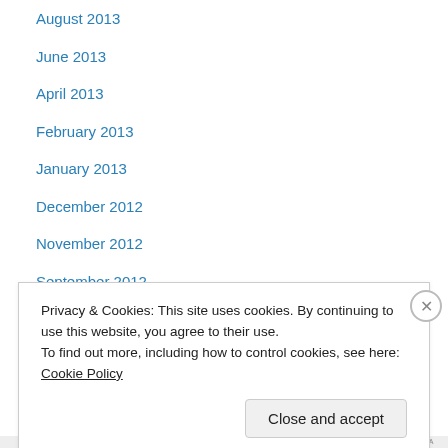August 2013
June 2013
April 2013
February 2013
January 2013
December 2012
November 2012
September 2012
May 2012
March 2012
January 2012
November 2011
August 2011
Privacy & Cookies: This site uses cookies. By continuing to use this website, you agree to their use. To find out more, including how to control cookies, see here: Cookie Policy